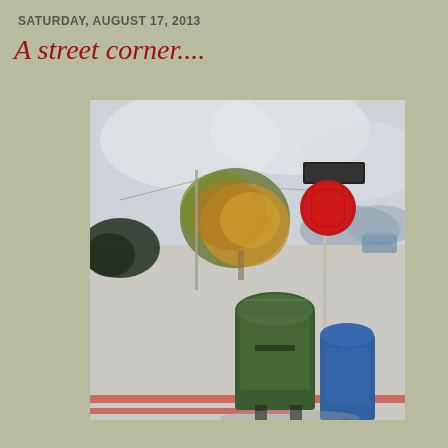SATURDAY, AUGUST 17, 2013
A street corner....
[Figure (illustration): An oil painting of a street corner scene featuring a green mailbox in the foreground, a red stop sign on a pole, a street sign above it, trees with autumn colors in the middle ground, and a road receding into the distance with blue mountains. A blue mailbox is partially visible to the right of the green one. Red curb markings are visible at the bottom.]